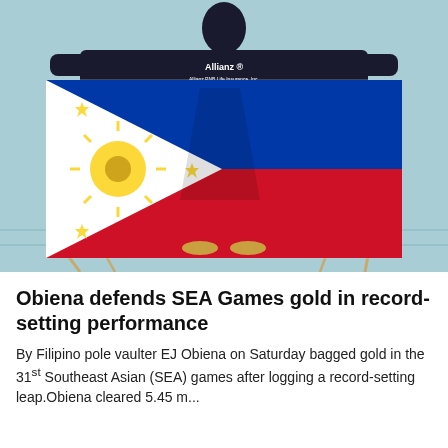[Figure (photo): A person wearing a black Allianz t-shirt holding up the Philippine flag wide open on a sports court with teal/green floor. The flag shows the white equilateral triangle on the left with a golden sun and three stars, upper half blue, lower half red.]
Obiena defends SEA Games gold in record-setting performance
By Filipino pole vaulter EJ Obiena on Saturday bagged gold in the 31st Southeast Asian (SEA) games after logging a record-setting leap.Obiena cleared 5.45 m...